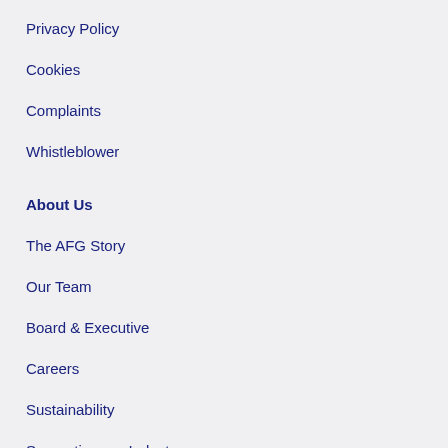Privacy Policy
Cookies
Complaints
Whistleblower
About Us
The AFG Story
Our Team
Board & Executive
Careers
Sustainability
Supporting our Industry